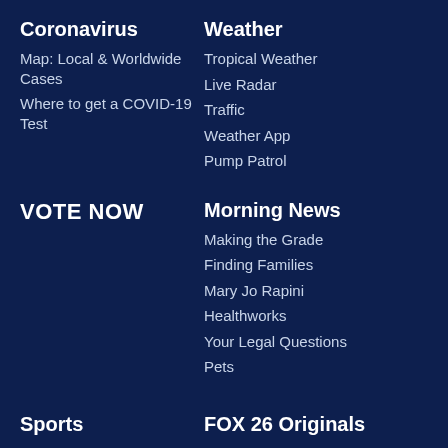Coronavirus
Map: Local & Worldwide Cases
Where to get a COVID-19 Test
Weather
Tropical Weather
Live Radar
Traffic
Weather App
Pump Patrol
VOTE NOW
Morning News
Making the Grade
Finding Families
Mary Jo Rapini
Healthworks
Your Legal Questions
Pets
Sports
Texans
FOX 26 Originals
Breaking Bond